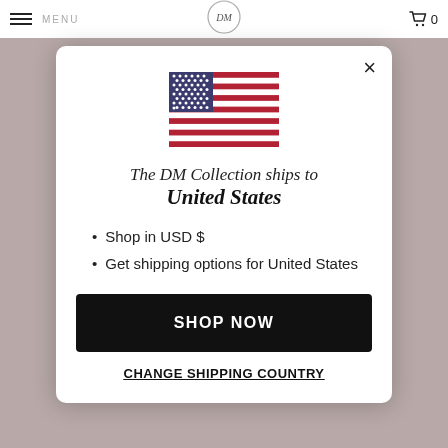[Figure (screenshot): Website header with hamburger menu, MENU text, DM Collection logo circle, and cart icon with 0]
[Figure (illustration): US flag icon]
The DM Collection ships to United States
Shop in USD $
Get shipping options for United States
SHOP NOW
CHANGE SHIPPING COUNTRY